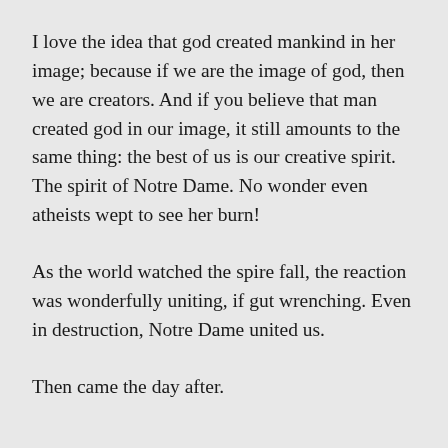I love the idea that god created mankind in her image; because if we are the image of god, then we are creators. And if you believe that man created god in our image, it still amounts to the same thing: the best of us is our creative spirit. The spirit of Notre Dame. No wonder even atheists wept to see her burn!
As the world watched the spire fall, the reaction was wonderfully uniting, if gut wrenching. Even in destruction, Notre Dame united us.
Then came the day after.